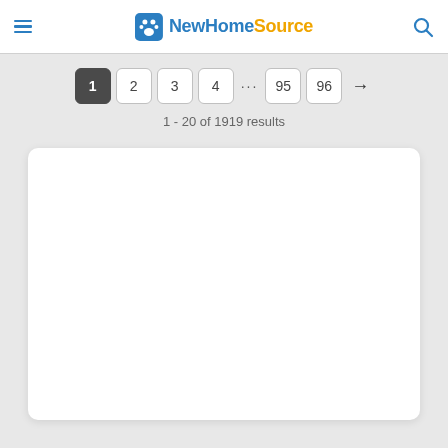NewHomeSource
1 - 20 of 1919 results
[Figure (screenshot): White empty content card / listing area]